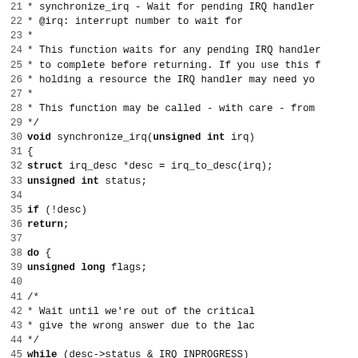Source code listing showing synchronize_irq function implementation in C, lines 21-52
21  *       synchronize_irq - Wait for pending IRQ handlers
22  *       @irq: interrupt number to wait for
23  *
24  *       This function waits for any pending IRQ handler
25  *       to complete before returning. If you use this f
26  *       holding a resource the IRQ handler may need yo
27  *
28  *       This function may be called - with care - from
29  */
30 void synchronize_irq(unsigned int irq)
31 {
32         struct irq_desc *desc = irq_to_desc(irq);
33         unsigned int status;
34
35         if (!desc)
36                 return;
37
38         do {
39                 unsigned long flags;
40
41                 /*
42                  * Wait until we're out of the critical
43                  * give the wrong answer due to the lac
44                  */
45                 while (desc->status & IRQ_INPROGRESS)
46                         cpu_relax();
47
48                 /* Ok, that indicated we're done: doub
49                 spin_lock_irqsave(&desc->lock, flags);
50                 status = desc->status;
51                 spin_unlock_irqrestore(&desc->lock, fla
52
53                 /* & something following */